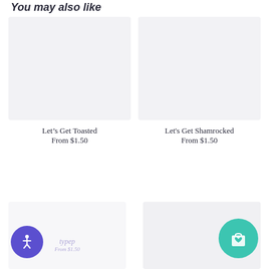You may also like
[Figure (photo): Product image placeholder for Let's Get Toasted, light gray background]
Let's Get Toasted
From $1.50
[Figure (photo): Product image placeholder for Let's Get Shamrocked, light gray background]
Let's Get Shamrocked
From $1.50
[Figure (photo): Partial product card bottom left with watermark text]
[Figure (photo): Partial product card bottom right, gray background]
[Figure (illustration): Purple circle accessibility button with wheelchair/person icon]
[Figure (illustration): Teal/turquoise circle shopping bag with heart icon]